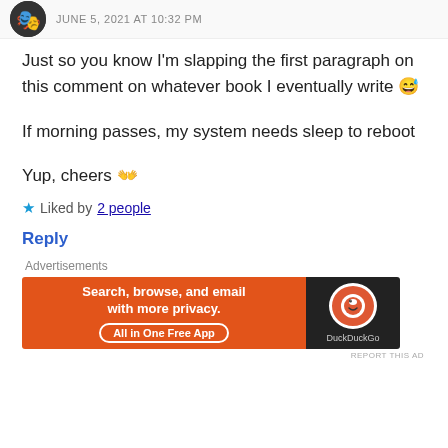JUNE 5, 2021 AT 10:32 PM
Just so you know I'm slapping the first paragraph on this comment on whatever book I eventually write 😅
If morning passes, my system needs sleep to reboot
Yup, cheers 👐
★ Liked by 2 people
Reply
Advertisements
[Figure (screenshot): DuckDuckGo advertisement banner: orange section with text 'Search, browse, and email with more privacy. All in One Free App' and black section with DuckDuckGo logo]